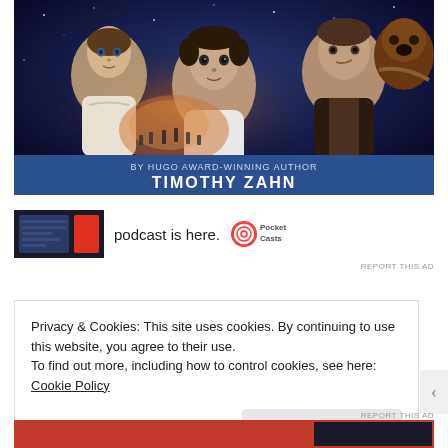[Figure (illustration): Star Wars book cover illustration showing Luke Skywalker, Princess Leia, Han Solo, and Chewbacca with space battle background. Text reads 'BY HUGO AWARD-WINNING AUTHOR' and 'TIMOTHY ZAHN' on a blue banner at the bottom.]
[Figure (screenshot): Advertisement banner showing a podcast thumbnail on the left (dark background with red play button), text 'podcast is here.' in the center, and a Pocket Casts logo on the right.]
REPORT THIS AD
Privacy & Cookies: This site uses cookies. By continuing to use this website, you agree to their use.
To find out more, including how to control cookies, see here: Cookie Policy
Close and accept
[Figure (other): Bottom advertisement bar in red/orange color, partially visible.]
REPORT THIS AD